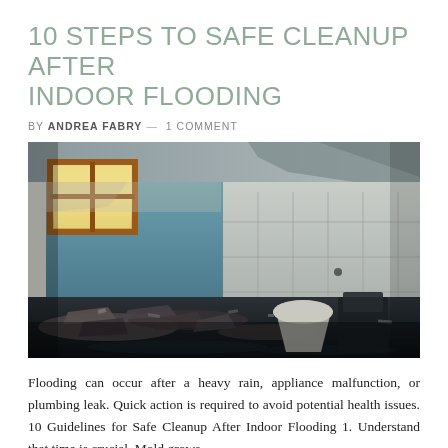10 STEPS TO SAFE CLEANUP AFTER INDOOR FLOODING
BY ANDREA FABRY — 1 COMMENT
[Figure (photo): Flood-damaged interior room with deteriorated blue-painted walls, white ceramic tile on right wall, scattered debris and rubble on floor, overturned white bucket, window with rusted frame letting in light at top left.]
Flooding can occur after a heavy rain, appliance malfunction, or plumbing leak. Quick action is required to avoid potential health issues. 10 Guidelines for Safe Cleanup After Indoor Flooding 1. Understand that time is crucial. Mold grows